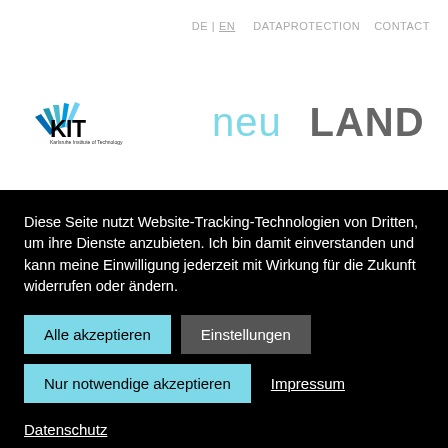DE | EN   DATAPROTECTION   CONTACT
[Figure (logo): KIT - Karlsruhe Institute of Technology logo (left) and neuLAND logo (right)]
Diese Seite nutzt Website-Tracking-Technologien von Dritten, um ihre Dienste anzubieten. Ich bin damit einverstanden und kann meine Einwilligung jederzeit mit Wirkung für die Zukunft widerrufen oder ändern.
Alle akzeptieren
Einstellungen
Nur notwendige akzeptieren
Impressum
Datenschutz